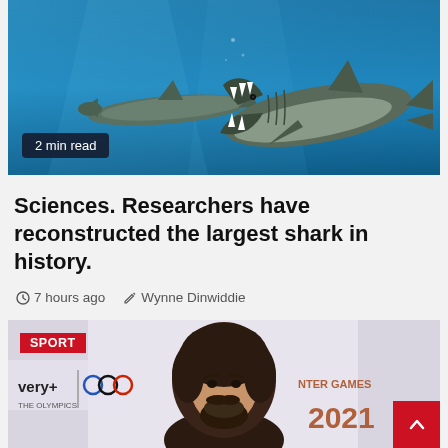[Figure (photo): Underwater photo illustration of two large prehistoric sharks (megalodon) in blue ocean water, one with mouth open showing teeth]
2 min read
Sciences. Researchers have reconstructed the largest shark in history.
7 hours ago   Wynne Dinwiddie
[Figure (photo): Photo of a man with dark hair and beard at a SPORT event with Olympic rings and INTER GAMES 2022 branding in the background]